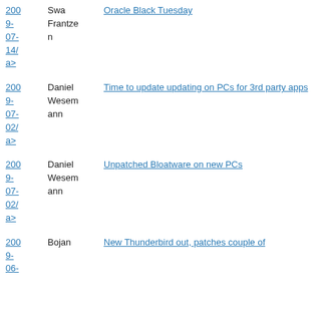200
9-
07-
14/
a>  Frantzen  Oracle Black Tuesday
200
9-
07-
02/
a>  Daniel Wesemann  Time to update updating on PCs for 3rd party apps
200
9-
07-
02/
a>  Daniel Wesemann  Unpatched Bloatware on new PCs
200
9-
06-
a>  Bojan  New Thunderbird out, patches couple of